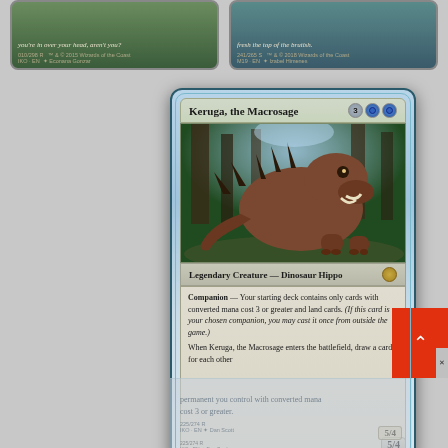[Figure (illustration): Two partial Magic: The Gathering cards visible at the top. Left card shows italic flavor text ending in 'you're in over your head, aren't you?' with set info '010/298 R' and 'IKO - EN'. Right card shows flavor text ending in 'fresh the top of the brutish.' with set info '241/265 S' and 'M19 - EN'.]
[Figure (illustration): Magic: The Gathering card 'Keruga, the Macrosage'. Mana cost 3UU (3 generic, 2 blue). Art shows a large dinosaur-hippo hybrid creature with spiky back in a forest setting. Type line: Legendary Creature — Dinosaur Hippo (rare set symbol). Rules text: Companion — Your starting deck contains only cards with converted mana cost 3 or greater and land cards. (If this card is your chosen companion, you may cast it once from outside the game.) When Keruga, the Macrosage enters the battlefield, draw a card for each other permanent you control with converted mana cost 3 or greater. Power/Toughness: 5/4. Set info: 225/274 R, IKO - EN, art by Dan Scott.]